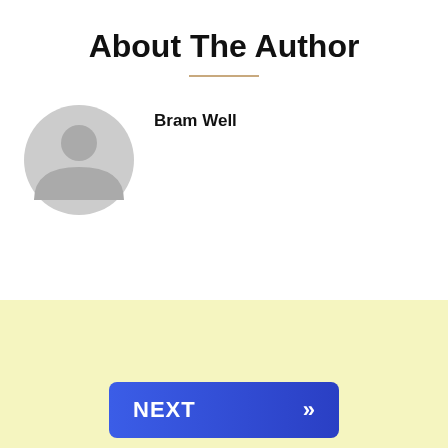About The Author
Bram Well
[Figure (illustration): Generic avatar/profile placeholder icon in gray showing a person silhouette]
NEXT >>